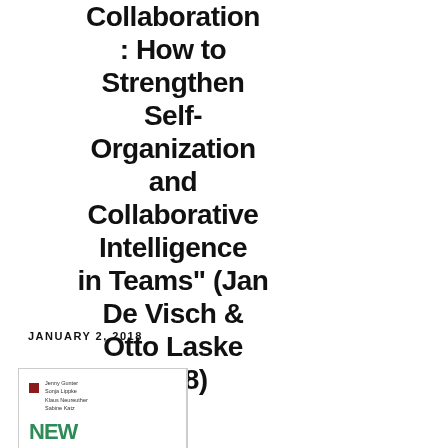Collaboration : How to Strengthen Self-Organization and Collaborative Intelligence in Teams" (Jan De Visch & Otto Laske 2018)
JANUARY 2, 2018
[Figure (illustration): Partial book cover thumbnail showing a small red square, author names (Jenny Gunter, Sonja Lippke, Klaus Neureuther, Sabine Katz), a vertical divider, and partial green 'NEW' text at the bottom]